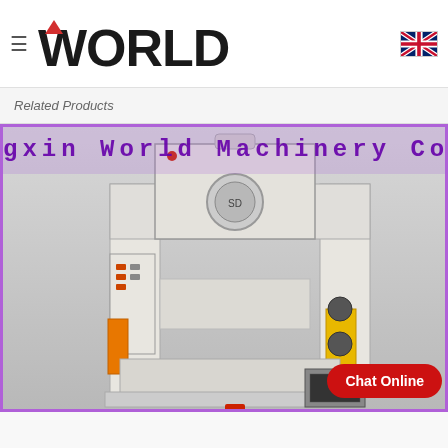≡  WORLD  [UK flag icon]
Related Products
[Figure (screenshot): Screenshot of World Machinery Co., Ltd. website showing a heavy-duty punch press / mechanical press machine in white/beige color with yellow safety guard, control panels on the side, and a watermark overlay reading 'gxin World Machinery Co., Ltd.' with purple borders. A red 'Chat Online' button is visible in the lower right corner.]
Chat Online